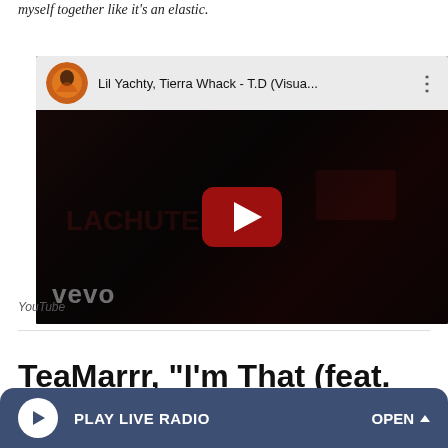myself together like it's an elastic.
[Figure (screenshot): YouTube video embed showing 'Lil Yachty, Tierra Whack - T.D (Visua...' with vevo branding and a play button overlay on a dark background.]
YouTube
TeaMarrr, "I'm That (feat.
[Figure (other): Bottom bar audio player with 'PLAY LIVE RADIO' button and 'OPEN' button on dark blue/slate background.]